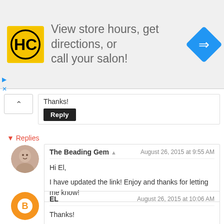[Figure (screenshot): Advertisement banner for HC salon: yellow HC logo, text 'View store hours, get directions, or call your salon!', blue diamond navigation icon]
Thanks!
Reply
▾ Replies
The Beading Gem  ▲   August 26, 2015 at 9:55 AM
Hi El,

I have updated the link! Enjoy and thanks for letting me know!
EL   August 26, 2015 at 10:06 AM
Thanks!

It looks like the "easy organza ribbon and bead necklace and bracelet set" link is not working either